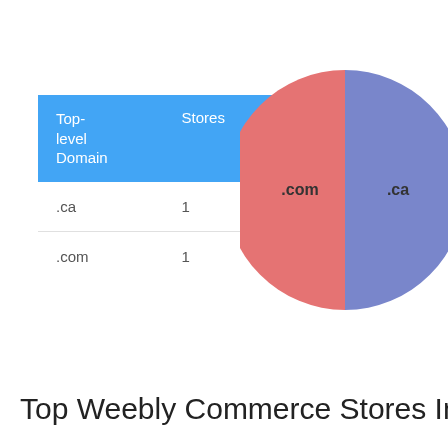| Top-level Domain | Stores |
| --- | --- |
| .ca | 1 |
| .com | 1 |
[Figure (pie-chart): ]
Top Weebly Commerce Stores In St